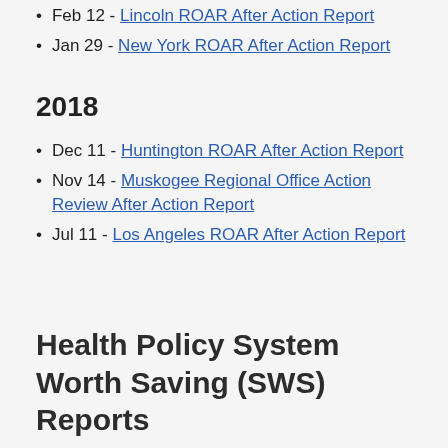Feb 12 - Lincoln ROAR After Action Report
Jan 29 - New York ROAR After Action Report
2018
Dec 11 - Huntington ROAR After Action Report
Nov 14 - Muskogee Regional Office Action Review After Action Report
Jul 11 - Los Angeles ROAR After Action Report
Health Policy System Worth Saving (SWS) Reports
2019